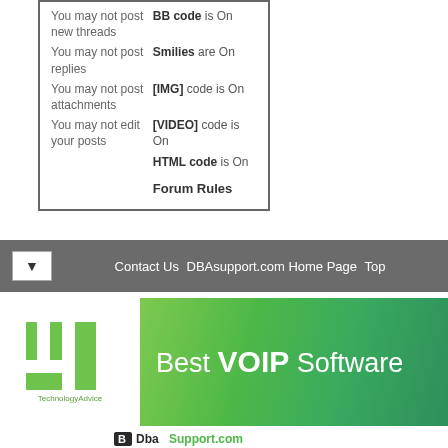| You may not post new threads | BB code is On |
| You may not post replies | Smilies are On |
| You may not post attachments | [IMG] code is On |
| You may not edit your posts | [VIDEO] code is On |
|  | HTML code is On |
|  | Forum Rules |
Contact Us   DBAsupport.com Home Page   Top
[Figure (illustration): TechnologyAdvice logo on white background beside green gradient banner reading 'Best VOIP Software']
[Figure (logo): DbaSupport.com logo at bottom of page]